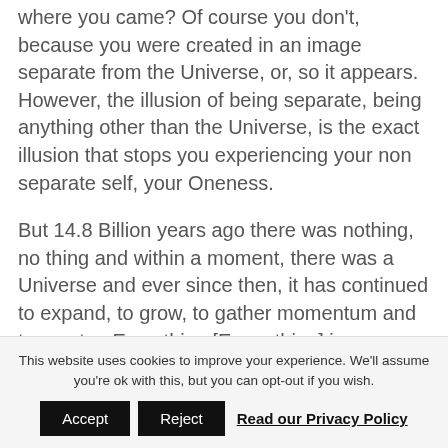where you came? Of course you don't, because you were created in an image separate from the Universe, or, so it appears.  However, the illusion of being separate, being anything other than the Universe, is the exact illusion that stops you experiencing your non separate self, your Oneness.
But 14.8 Billion years ago there was nothing, no thing and within a moment, there was a Universe and ever since then, it has continued to expand, to grow, to gather momentum and to create.  Everything [Every thing] is an extension of that one moment of creation, is
This website uses cookies to improve your experience. We'll assume you're ok with this, but you can opt-out if you wish.
Accept | Reject | Read our Privacy Policy